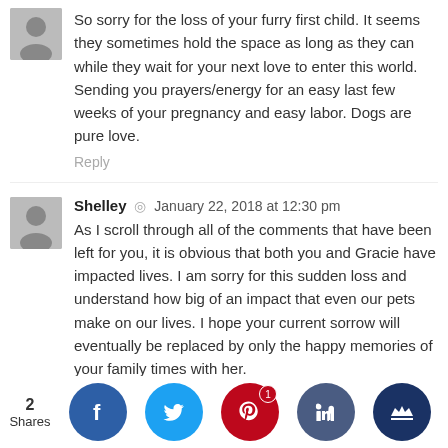So sorry for the loss of your furry first child. It seems they sometimes hold the space as long as they can while they wait for your next love to enter this world. Sending you prayers/energy for an easy last few weeks of your pregnancy and easy labor. Dogs are pure love.
Reply
Shelley · January 22, 2018 at 12:30 pm
As I scroll through all of the comments that have been left for you, it is obvious that both you and Gracie have impacted lives. I am sorry for this sudden loss and understand how big of an impact that even our pets make on our lives. I hope your current sorrow will eventually be replaced by only the happy memories of your family times with her.
Reply
Jill · January 22, 2018 at 12:32 pm
I'm very sorry for your loss.
Reply
2 Shares